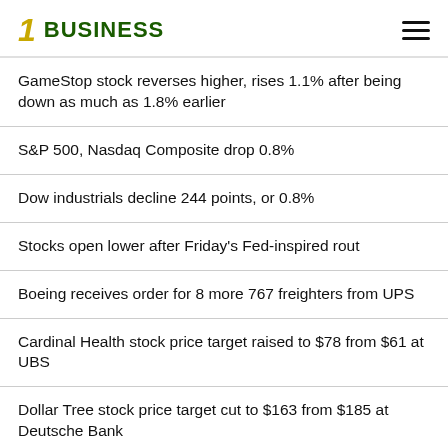1 BUSINESS
GameStop stock reverses higher, rises 1.1% after being down as much as 1.8% earlier
S&P 500, Nasdaq Composite drop 0.8%
Dow industrials decline 244 points, or 0.8%
Stocks open lower after Friday's Fed-inspired rout
Boeing receives order for 8 more 767 freighters from UPS
Cardinal Health stock price target raised to $78 from $61 at UBS
Dollar Tree stock price target cut to $163 from $185 at Deutsche Bank
3M stock slips 0.4% premarket, after plunging 9.5% on Friday